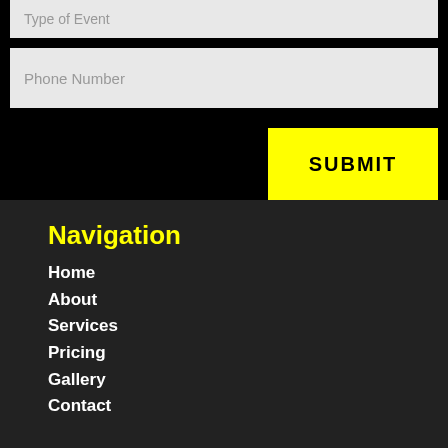Type of Event
Phone Number
SUBMIT
Navigation
Home
About
Services
Pricing
Gallery
Contact